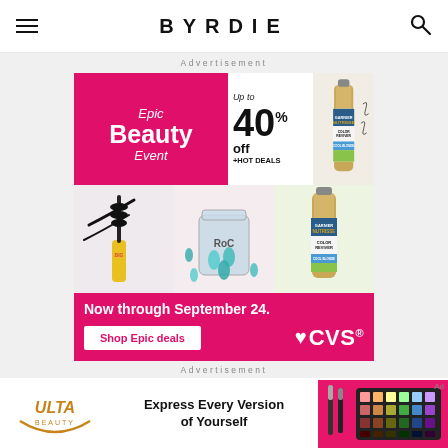BYRDIE
Advertisement
[Figure (photo): CVS Epic Beauty Event advertisement banner. Top left pink panel: 'Epic Beauty Event'. Center: 'Up to 40% off +HOT DEALS'. Top right: Garnier Nutrisse Color Reviver product. Middle row: mascara product, RoC serum capsules, Garnier Color Reviver tube. Bottom pink bar: 'Now through September 24.' with 'Shop Epic deals' button and CVS heart logo.]
Advertisement
[Figure (photo): ULTA Beauty advertisement banner. ULTA Beauty logo on left, 'Express Every Version of Yourself' text in center, beauty product images on right.]